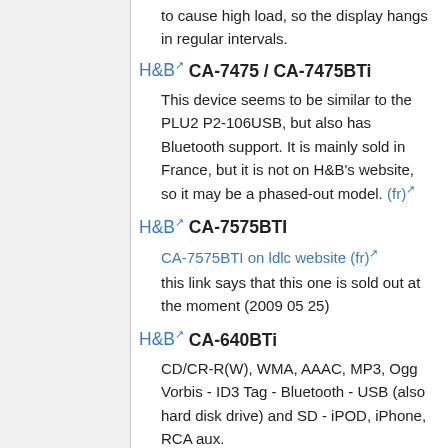to cause high load, so the display hangs in regular intervals.
H&B CA-7475 / CA-7475BTi
This device seems to be similar to the PLU2 P2-106USB, but also has Bluetooth support. It is mainly sold in France, but it is not on H&B's website, so it may be a phased-out model. (fr)
H&B CA-7575BTI
CA-7575BTI on ldlc website (fr)
this link says that this one is sold out at the moment (2009 05 25)
H&B CA-640BTi
CD/CR-R(W), WMA, AAAC, MP3, Ogg Vorbis - ID3 Tag - Bluetooth - USB (also hard disk drive) and SD - iPOD, iPhone, RCA aux.